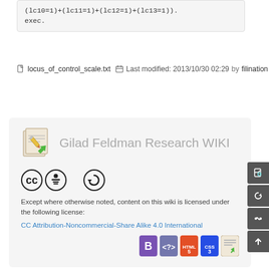(lc10=1)+(lc11=1)+(lc12=1)+(lc13=1)).
exec.
locus_of_control_scale.txt  Last modified: 2013/10/30 02:29 by filination
[Figure (logo): Gilad Feldman Research WIKI logo with pencil/document icon]
Gilad Feldman Research WIKI
[Figure (other): Creative Commons CC BY-SA license icons]
Except where otherwise noted, content on this wiki is licensed under the following license:
CC Attribution-Noncommercial-Share Alike 4.0 International
[Figure (other): Technology badges: Bootstrap, PHP, HTML5, CSS3, DokuWiki]